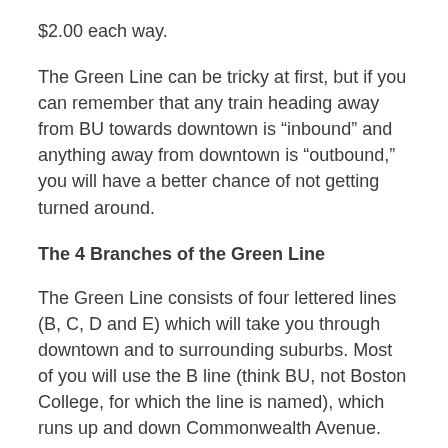$2.00 each way.
The Green Line can be tricky at first, but if you can remember that any train heading away from BU towards downtown is “inbound” and anything away from downtown is “outbound,” you will have a better chance of not getting turned around.
The 4 Branches of the Green Line
The Green Line consists of four lettered lines (B, C, D and E) which will take you through downtown and to surrounding suburbs. Most of you will use the B line (think BU, not Boston College, for which the line is named), which runs up and down Commonwealth Avenue.
The C or Cleveland Circle Line runs through South Campus; the D or Riverside Line goes through Brookline;